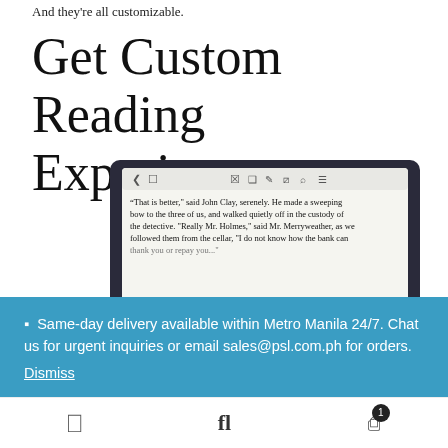And they're all customizable.
Get Custom Reading Experience
[Figure (photo): E-reader device showing a book text passage with toolbar icons at the top, angled view]
🔔  Same-day delivery available within Metro Manila 24/7. Chat us for urgent inquiries or email sales@psl.com.ph for orders. Dismiss